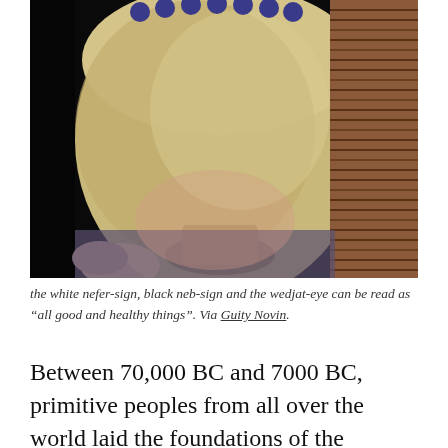[Figure (photo): Close-up photo of an ancient pottery vessel/goblet with decorative dots along the rim, yellowish-cream glaze, set against a dark background with a woven/reed mat visible on the right side.]
the white nefer-sign, black neb-sign and the wedjat-eye can be read as "all good and healthy things". Via Guity Novin.
Between 70,000 BC and 7000 BC, primitive peoples from all over the world laid the foundations of the graphic arts by painting animals in caves. Around 8000 BC, people in Assyria, Egypt, Carthage, Persia, Media and Sumer created pottery that communicated